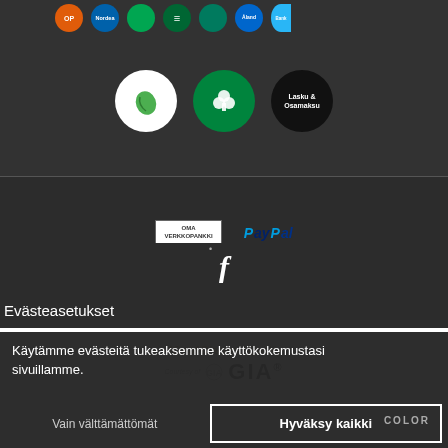[Figure (screenshot): Payment method icons row: orange circle (OP), blue circle (Nordea), green circles, dark blue circle, light blue circle (Åland)]
[Figure (screenshot): Second row of payment icons: white circle with green leaf logo, green circle with clover/S-Pankki logo, black circle with Lasku & Osamaksu text]
[Figure (screenshot): Dark background section with OmaSP Verkkopankki box logo and PayPal logo]
Evästeasetukset
[Figure (screenshot): Facebook icon 'f' on dark background]
[Figure (screenshot): 4Cs of Diamond Quality courtesy of GIA logo on white background]
Käytämme evästeitä tukeaksemme käyttökokemustasi sivuillamme.
Vain välttämättömät
Hyväksy kaikki